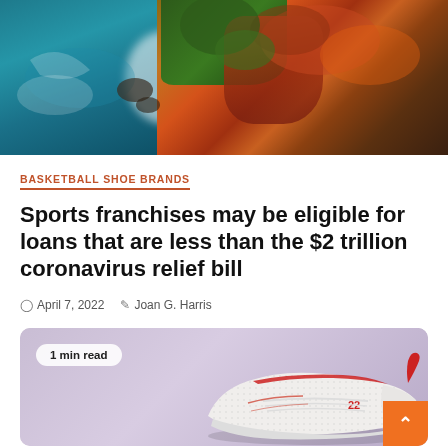[Figure (photo): Aerial view of coastline with ocean waves meeting autumn forest with red, orange and green foliage]
BASKETBALL SHOE BRANDS
Sports franchises may be eligible for loans that are less than the $2 trillion coronavirus relief bill
April 7, 2022  Joan G. Harris
[Figure (photo): White and red basketball/running shoe on lavender background with '1 min read' badge]